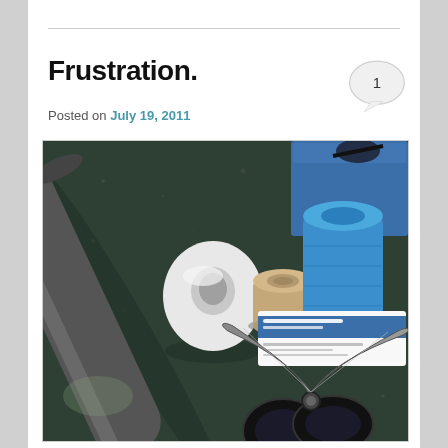Frustration.
Posted on July 19, 2011
[Figure (photo): Photo of medical/first-aid supplies on a dark granite countertop: a foam pool noodle or pipe insulation on the left, a roll of white cotton batting/bandage, a roll of tan medical tape, a roll of blue cohesive bandage wrap, a blue foam pad in the upper right, scissors (kitchen shears) in the foreground, and a small white box with blue label in the background right.]